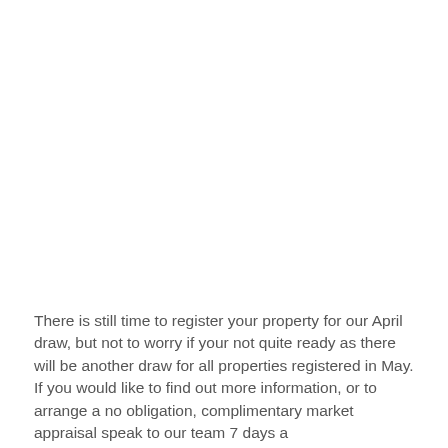There is still time to register your property for our April draw, but not to worry if your not quite ready as there will be another draw for all properties registered in May. If you would like to find out more information, or to arrange a no obligation, complimentary market appraisal speak to our team 7 days a